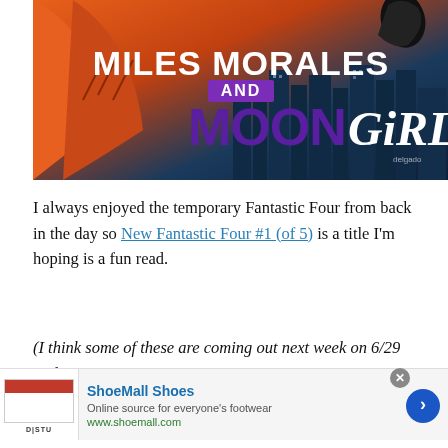[Figure (illustration): Comic book cover or promotional art showing Miles Morales and Moon Girl title text over a city background with superhero characters in orange and blue tones. Large white bold text reads 'MILES MORALES AND' and large purple stylized text reads 'MOON GIRL'.]
I always enjoyed the temporary Fantastic Four from back in the day so New Fantastic Four #1 (of 5) is a title I'm hoping is a fun read.
(I think some of these are coming out next week on 6/29 and
[Figure (screenshot): Advertisement for ShoeMall Shoes showing a thumbnail image of a shoe website, the brand name 'ShoeMall Shoes' in blue bold text, tagline 'Online source for everyone's footwear', URL 'www.shoemall.com', a right-arrow navigation button, and a close (X) button.]